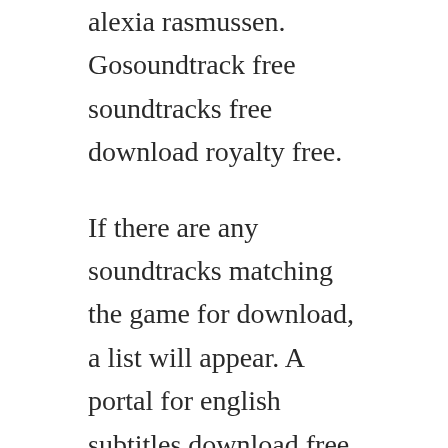alexia rasmussen. Gosoundtrack free soundtracks free download royalty free.
If there are any soundtracks matching the game for download, a list will appear. A portal for english subtitles download free for new movies in srt format. Moviescouch is free movie download website in hd 720p. Subscene download latest movies subtitles for free in. Forks over knives examines the profound claim that most, if not all, of the chronic diseases that afflict us can be controlled or even reversed by rejecting animalbased and processed foods the major